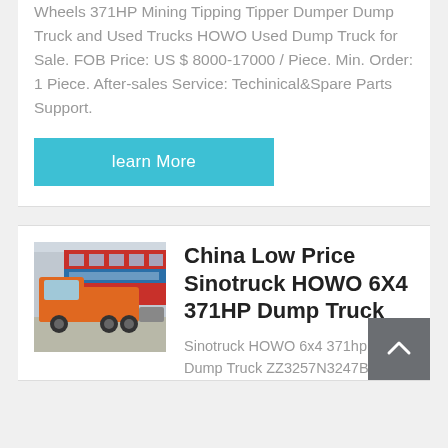Wheels 371HP Mining Tipping Tipper Dumper Dump Truck and Used Trucks HOWO Used Dump Truck for Sale. FOB Price: US $ 8000-17000 / Piece. Min. Order: 1 Piece. After-sales Service: Techinical&Spare Parts Support.
learn More
[Figure (photo): Photo of an orange Sinotruck HOWO tractor unit parked in front of a dealership/showroom building with red facade and signage.]
China Low Price Sinotruck HOWO 6X4 371HP Dump Truck
Sinotruck HOWO 6x4 371hp Stock Dump Truck ZZ3257N3247B for